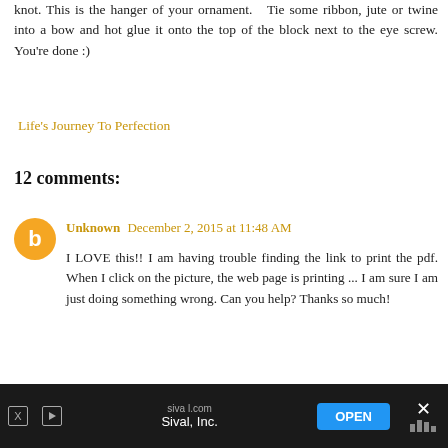knot. This is the hanger of your ornament.   Tie some ribbon, jute or twine into a bow and hot glue it onto the top of the block next to the eye screw. You're done :)
Life's Journey To Perfection
12 comments:
Unknown  December 2, 2015 at 11:48 AM
I LOVE this!! I am having trouble finding the link to print the pdf. When I click on the picture, the web page is printing ... I am sure I am just doing something wrong. Can you help? Thanks so much!
Reply
Replies
[Figure (other): Advertisement banner for Sival, Inc. (sival.com) with OPEN button on dark background]